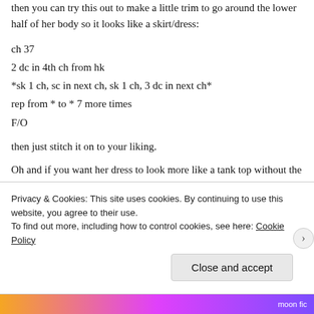then you can try this out to make a little trim to go around the lower half of her body so it looks like a skirt/dress:
ch 37
2 dc in 4th ch from hk
*sk 1 ch, sc in next ch, sk 1 ch, 3 dc in next ch*
rep from * to * 7 more times
F/O
then just stitch it on to your liking.
Oh and if you want her dress to look more like a tank top without the sleeves, just complete the Hand/Arms
Privacy & Cookies: This site uses cookies. By continuing to use this website, you agree to their use.
To find out more, including how to control cookies, see here: Cookie Policy
Close and accept